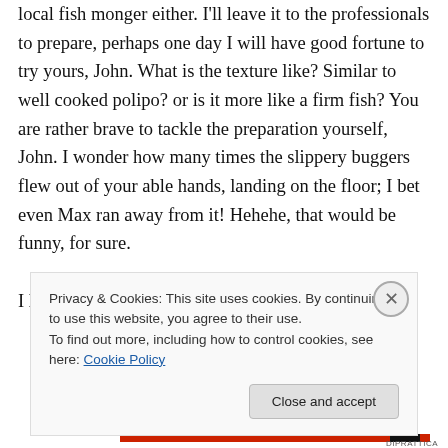local fish monger either. I'll leave it to the professionals to prepare, perhaps one day I will have good fortune to try yours, John. What is the texture like? Similar to well cooked polipo? or is it more like a firm fish? You are rather brave to tackle the preparation yourself, John. I wonder how many times the slippery buggers flew out of your able hands, landing on the floor; I bet even Max ran away from it! Hehehe, that would be funny, for sure.
I loved your Feast of Seven Fishes post, John —
Privacy & Cookies: This site uses cookies. By continuing to use this website, you agree to their use.
To find out more, including how to control cookies, see here: Cookie Policy
Close and accept